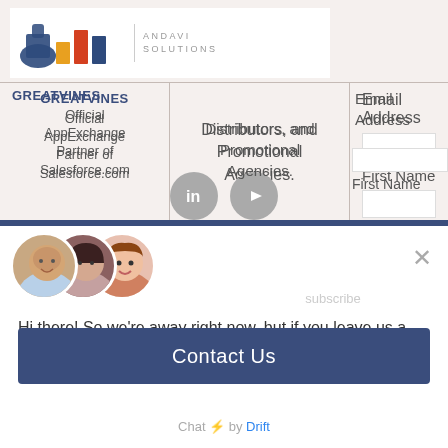[Figure (screenshot): GreatVines and Andavi Solutions logo at top of webpage]
Official AppExchange Partner of Salesforce.com
Suppliers, Distributors, and Promotional Agencies.
Email Address
First Name
[Figure (screenshot): LinkedIn and YouTube social media icons]
[Figure (photo): Three chat agent avatar photos overlapping]
Hi there! So we're away right now, but if you leave us a message we'll get back to you soon.
Contact Us
Chat ⚡ by Drift